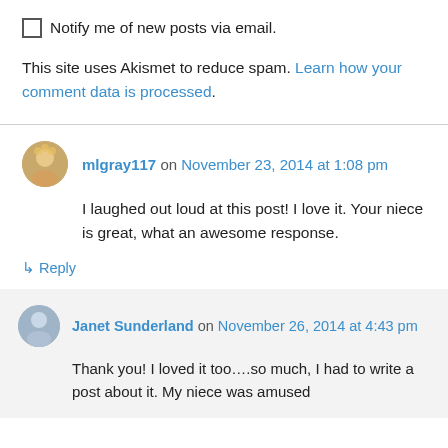Notify me of new posts via email.
This site uses Akismet to reduce spam. Learn how your comment data is processed.
mlgray117 on November 23, 2014 at 1:08 pm
I laughed out loud at this post! I love it. Your niece is great, what an awesome response.
↳ Reply
Janet Sunderland on November 26, 2014 at 4:43 pm
Thank you! I loved it too….so much, I had to write a post about it. My niece was amused